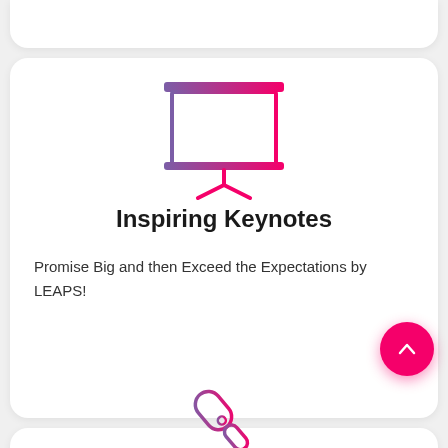[Figure (illustration): Presentation board / whiteboard icon with purple-to-pink gradient outline, showing a rectangular board on a stand with a triangular easel leg]
Inspiring Keynotes
Promise Big and then Exceed the Expectations by LEAPS!
[Figure (illustration): Microphone icon with purple-to-pink gradient outline, tilted at an angle]